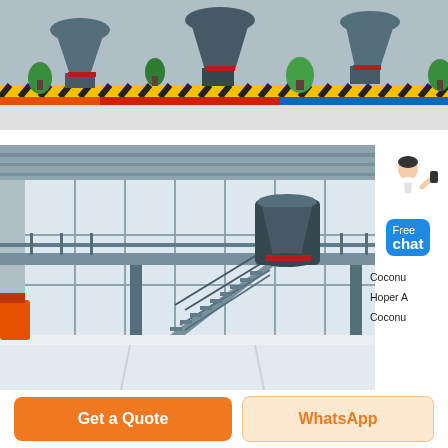[Figure (photo): Top banner showing industrial heavy machinery with cone crushers and other mining equipment on a brightly painted factory floor with yellow-black safety striping, red and blue beams, and green plants in the background.]
[Figure (photo): Large industrial hall interior showing a cone crusher machine on a raised metal platform with stairs, large glass windows in background, high ceiling, and shiny concrete floor.]
Coconut
Hoper A
Coconut
Get a Quote
WhatsApp